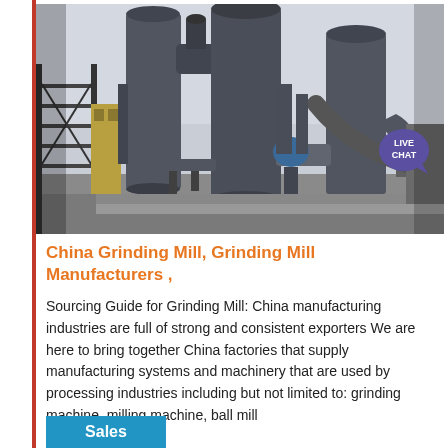[Figure (photo): Industrial grinding mill facility with large cylindrical silos, piping, and processing equipment viewed from ground level outdoors.]
China Grinding Mill, Grinding Mill Manufacturers ,
Sourcing Guide for Grinding Mill: China manufacturing industries are full of strong and consistent exporters We are here to bring together China factories that supply manufacturing systems and machinery that are used by processing industries including but not limited to: grinding machine, milling machine, ball mill
Sales